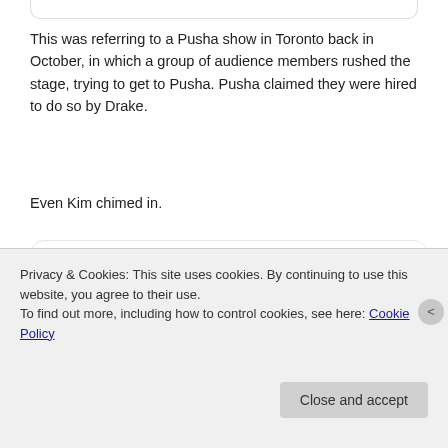This was referring to a Pusha show in Toronto back in October, in which a group of audience members rushed the stage, trying to get to Pusha. Pusha claimed they were hired to do so by Drake.
Even Kim chimed in.
[Figure (screenshot): Embedded tweet from Kim Kardashian (@KimKardashian) with verified badge and Follow button. Tweet text: '@drake Never threaten my husband or our family. He paved the way for there'. Twitter bird logo in top right corner.]
Privacy & Cookies: This site uses cookies. By continuing to use this website, you agree to their use.
To find out more, including how to control cookies, see here: Cookie Policy